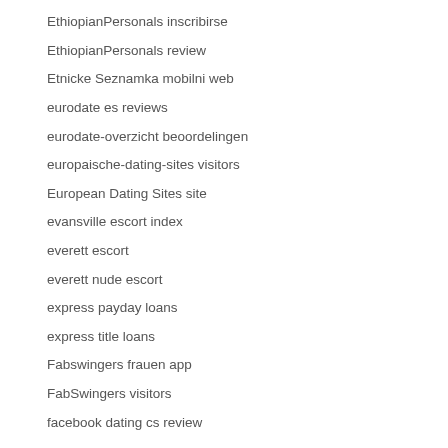EthiopianPersonals inscribirse
EthiopianPersonals review
Etnicke Seznamka mobilni web
eurodate es reviews
eurodate-overzicht beoordelingen
europaische-dating-sites visitors
European Dating Sites site
evansville escort index
everett escort
everett nude escort
express payday loans
express title loans
Fabswingers frauen app
FabSwingers visitors
facebook dating cs review